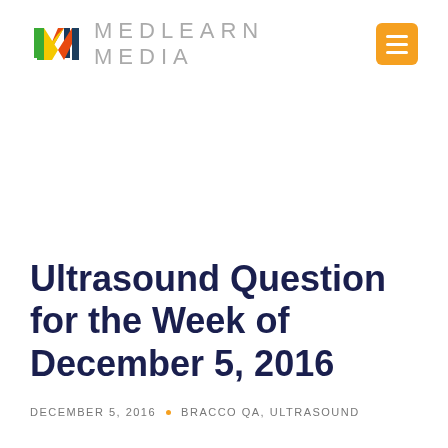[Figure (logo): MedLearn Media logo with colorful M mark and gray lettering MEDLEARN MEDIA, plus orange hamburger menu button]
Ultrasound Question for the Week of December 5, 2016
DECEMBER 5, 2016  •  BRACCO QA, ULTRASOUND